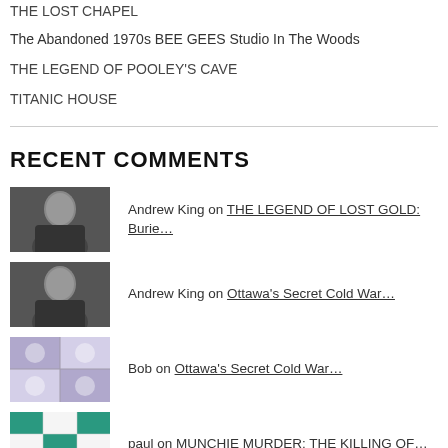THE LOST CHAPEL
The Abandoned 1970s BEE GEES Studio In The Woods
THE LEGEND OF POOLEY'S CAVE
TITANIC HOUSE
RECENT COMMENTS
Andrew King on THE LEGEND OF LOST GOLD: Burie…
Andrew King on Ottawa's Secret Cold War…
Bob on Ottawa's Secret Cold War…
paul on MUNCHIE MURDER: THE KILLING OF…
Dan Alls on THE LEGEND OF LOST GOLD: Burie…